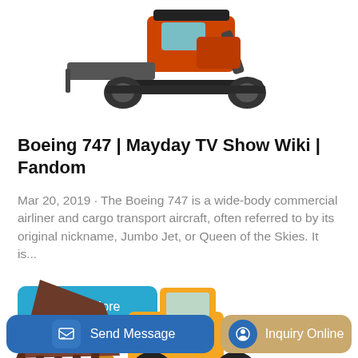[Figure (photo): Orange and black tracked excavator/bulldozer machine viewed from the front-side, on white background]
Boeing 747 | Mayday TV Show Wiki | Fandom
Mar 20, 2019 · The Boeing 747 is a wide-body commercial airliner and cargo transport aircraft, often referred to by its original nickname, Jumbo Jet, or Queen of the Skies. It is...
Learn More
[Figure (photo): Yellow XCMG front loader / wheel loader construction equipment with large bucket raised, on white background]
Send Message
Inquiry Online